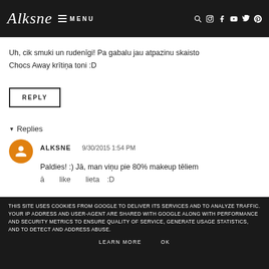Alksne MENU
Uh, cik smuki un rudenīgi! Pa gabalu jau atpazinu skaisto Chocs Away krītiņa toni :D
REPLY
▾ Replies
ALKSNE   9/30/2015 1:54 PM
Paldies! :) Jā, man viņu pie 80% makeup tēliem
THIS SITE USES COOKIES FROM GOOGLE TO DELIVER ITS SERVICES AND TO ANALYZE TRAFFIC. YOUR IP ADDRESS AND USER-AGENT ARE SHARED WITH GOOGLE ALONG WITH PERFORMANCE AND SECURITY METRICS TO ENSURE QUALITY OF SERVICE, GENERATE USAGE STATISTICS, AND TO DETECT AND ADDRESS ABUSE.
LEARN MORE   OK